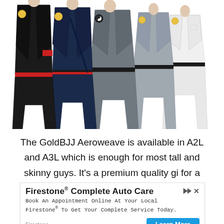[Figure (photo): Five BJJ practitioners wearing GoldBJJ Aeroweave gis in different colors: black, navy blue, gray, light gray, and white, posing together from torso to feet.]
The GoldBJJ Aeroweave is available in A2L and A3L which is enough for most tall and skinny guys. It's a premium quality gi for a very affordable price, so I think it's the best
[Figure (screenshot): Advertisement for Firestone Complete Auto Care. Title: 'Firestone® Complete Auto Care'. Body: 'Book An Appointment Online At Your Local Firestone® To Get Your Complete Service Today.' Brand: 'Firestone'. Button: 'Learn More' in blue.]